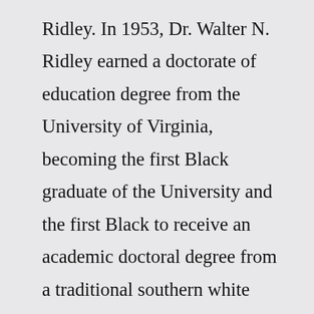Ridley. In 1953, Dr. Walter N. Ridley earned a doctorate of education degree from the University of Virginia, becoming the first Black graduate of the University and the first Black to receive an academic doctoral degree from a traditional southern white college or university. He graduated with high honors and his pioneering ...The key is the combination of honors and strong academic departments. Honors students